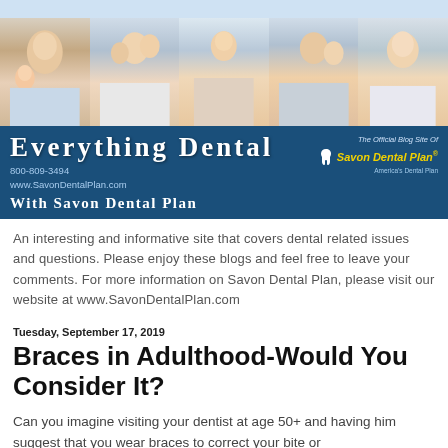[Figure (photo): Banner image with multiple people brushing their teeth, arranged in a collage strip]
[Figure (logo): Everything Dental with Savon Dental Plan blue banner header with logo, phone 800-809-3494, website www.SavonDentalPlan.com, and text 'The Official Blog Site Of Savon Dental Plan']
An interesting and informative site that covers dental related issues and questions. Please enjoy these blogs and feel free to leave your comments. For more information on Savon Dental Plan, please visit our website at www.SavonDentalPlan.com
Tuesday, September 17, 2019
Braces in Adulthood-Would You Consider It?
Can you imagine visiting your dentist at age 50+ and having him suggest that you wear braces to correct your bite or